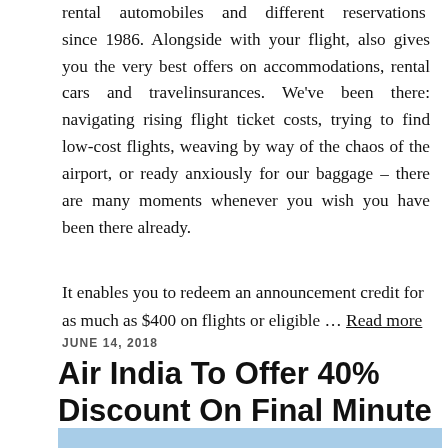rental automobiles and different reservations since 1986. Alongside with your flight, also gives you the very best offers on accommodations, rental cars and travelinsurances. We've been there: navigating rising flight ticket costs, trying to find low-cost flights, weaving by way of the chaos of the airport, or ready anxiously for our baggage – there are many moments whenever you wish you have been there already.
It enables you to redeem an announcement credit for as much as $400 on flights or eligible … Read more
JUNE 14, 2018
Air India To Offer 40% Discount On Final Minute Flight Tickets
[Figure (photo): Top portion of an image, appearing to show a sky/airplane themed photo with blue background]